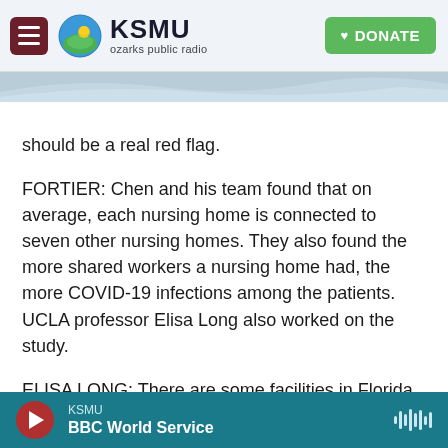KSMU ozarks public radio — DONATE
should be a real red flag.
FORTIER: Chen and his team found that on average, each nursing home is connected to seven other nursing homes. They also found the more shared workers a nursing home had, the more COVID-19 infections among the patients. UCLA professor Elisa Long also worked on the study.
ELISA LONG: There are some facilities in Florida, in New Jersey where they're sharing upwards of 50 to 100 workers. Again, this is over an 11-week time period, but that's a huge number of individuals that
KSMU — BBC World Service